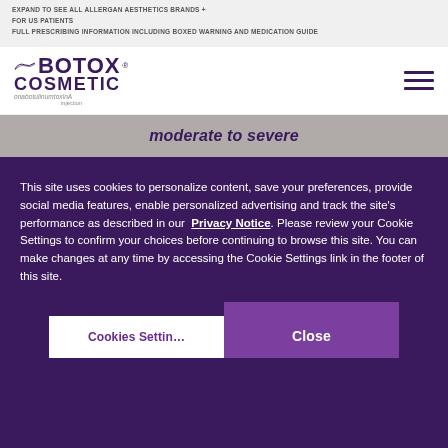EXPAND TO SEE ALL ALLERGAN AESTHETICS BRANDS +
FOR US PATIENTS
FULL PRESCRIBING INFORMATION INCLUDING BOXED WARNING AND MEDICATION GUIDE
[Figure (logo): BOTOX Cosmetic onabotulinumtoxinA injection logo with decorative wing element]
[Figure (illustration): Hamburger menu icon (three horizontal purple lines)]
[Figure (screenshot): Hero strip showing italic text 'moderate to severe' in purple on gray background]
This site uses cookies to personalize content, save your preferences, provide social media features, enable personalized advertising and track the site's performance as described in our Privacy Notice. Please review your Cookie Settings to confirm your choices before continuing to browse this site. You can make changes at any time by accessing the Cookie Settings link in the footer of this site.